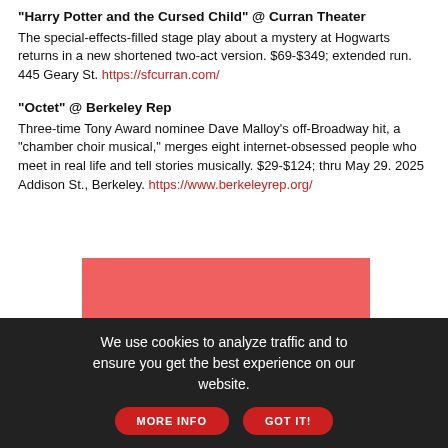"Harry Potter and the Cursed Child" @ Curran Theater
The special-effects-filled stage play about a mystery at Hogwarts returns in a new shortened two-act version. $69-$349; extended run. 445 Geary St. https://sfcurran.com/
"Octet" @ Berkeley Rep
Three-time Tony Award nominee Dave Malloy's off-Broadway hit, a "chamber choir musical," merges eight internet-obsessed people who meet in real life and tell stories musically. $29-$124; thru May 29. 2025 Addison St., Berkeley. https://www.berkeleyrep.org/
[Figure (photo): A red/salmon colored image block, partially visible]
We use cookies to analyze traffic and to ensure you get the best experience on our website. MORE INFO GOT IT!